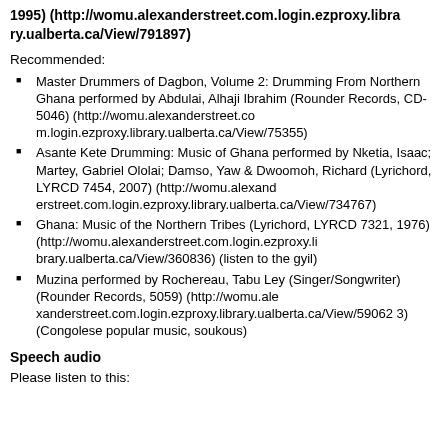1995) (http://womu.alexanderstreet.com.login.ezproxy.library.ualberta.ca/View/791897)
Recommended:
Master Drummers of Dagbon, Volume 2: Drumming From Northern Ghana performed by Abdulai, Alhaji Ibrahim (Rounder Records, CD-5046) (http://womu.alexanderstreet.com.login.ezproxy.library.ualberta.ca/View/75355)
Asante Kete Drumming: Music of Ghana performed by Nketia, Isaac; Martey, Gabriel Ololai; Damso, Yaw & Dwoomoh, Richard (Lyrichord, LYRCD 7454, 2007) (http://womu.alexanderstreet.com.login.ezproxy.library.ualberta.ca/View/734767)
Ghana: Music of the Northern Tribes (Lyrichord, LYRCD 7321, 1976) (http://womu.alexanderstreet.com.login.ezproxy.library.ualberta.ca/View/360836) (listen to the gyil)
Muzina performed by Rochereau, Tabu Ley (Singer/Songwriter) (Rounder Records, 5059) (http://womu.alexanderstreet.com.login.ezproxy.library.ualberta.ca/View/590623) (Congolese popular music, soukous)
Speech audio
Please listen to this: